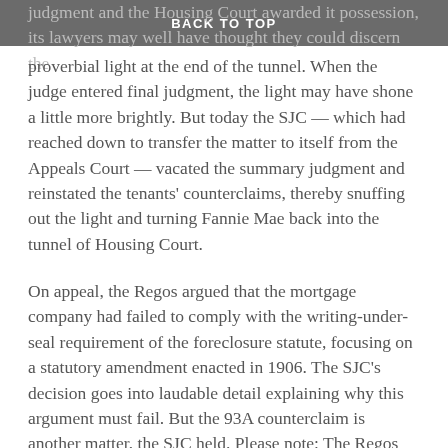BACK TO TOP
judgment and the Housing Court awarded it possession, its lawyers may well have thought they could discern the proverbial light at the end of the tunnel. When the judge entered final judgment, the light may have shone a little more brightly. But today the SJC — which had reached down to transfer the matter to itself from the Appeals Court — vacated the summary judgment and reinstated the tenants' counterclaims, thereby snuffing out the light and turning Fannie Mae back into the tunnel of Housing Court.
On appeal, the Regos argued that the mortgage company had failed to comply with the writing-under-seal requirement of the foreclosure statute, focusing on a statutory amendment enacted in 1906. The SJC's decision goes into laudable detail explaining why this argument must fail. But the 93A counterclaim is another matter, the SJC held. Please note: The Regos raised 93A as a counterclaim, not a defense.